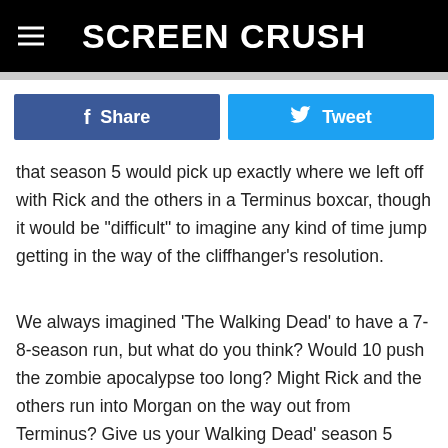Screen Crush
[Figure (other): Social media share buttons: Facebook Share (blue) and Twitter Tweet (light blue)]
that season 5 would pick up exactly where we left off with Rick and the others in a Terminus boxcar, though it would be "difficult" to imagine any kind of time jump getting in the way of the cliffhanger's resolution.
We always imagined 'The Walking Dead' to have a 7-8-season run, but what do you think? Would 10 push the zombie apocalypse too long? Might Rick and the others run into Morgan on the way out from Terminus? Give us your Walking Dead' season 5 predictions in the comments, after watching the interview below!